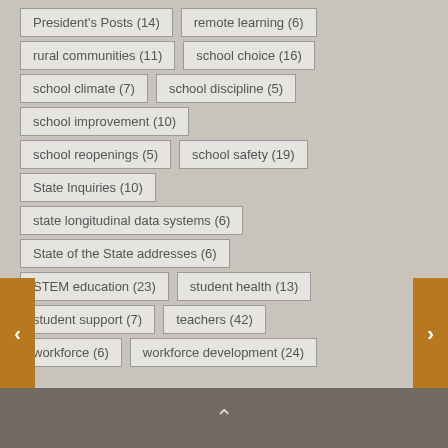President's Posts (14)
remote learning (6)
rural communities (11)
school choice (16)
school climate (7)
school discipline (5)
school improvement (10)
school reopenings (5)
school safety (19)
State Inquiries (10)
state longitudinal data systems (6)
State of the State addresses (6)
STEM education (23)
student health (13)
student support (7)
teachers (42)
workforce (6)
workforce development (24)